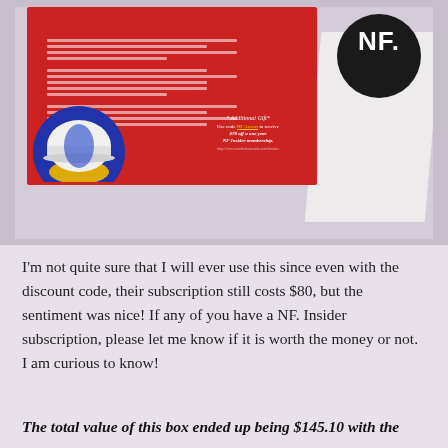[Figure (photo): Photograph of an NF. subscription box contents including a red promotional card with a helmet illustration and 'Additional Gift' discount code offer, and a white NF. logo visible in the upper right corner.]
I'm not quite sure that I will ever use this since even with the discount code, their subscription still costs $80, but the sentiment was nice! If any of you have a NF. Insider subscription, please let me know if it is worth the money or not. I am curious to know!
The total value of this box ended up being $145.10 with the